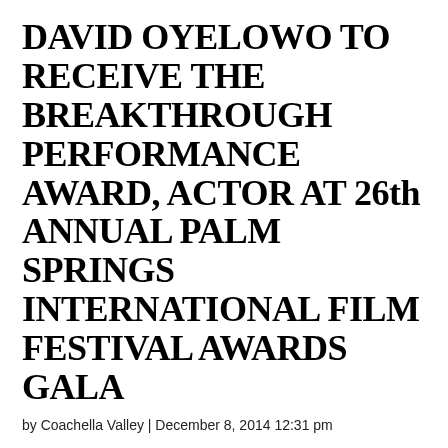DAVID OYELOWO TO RECEIVE THE BREAKTHROUGH PERFORMANCE AWARD, ACTOR AT 26th ANNUAL PALM SPRINGS INTERNATIONAL FILM FESTIVAL AWARDS GALA
by Coachella Valley | December 8, 2014 12:31 pm
DAVID OYELOWO TO RECEIVE THE BREAKTHROUGH PERFORMANCE AWARD, ACTOR AT 26th ANNUAL PS INTERNATIONAL